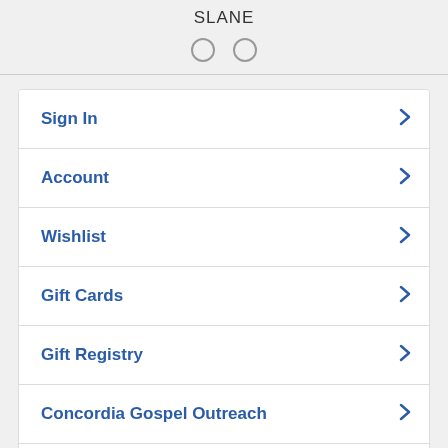SLANE
[Figure (other): Two empty radio button circles side by side]
Sign In
Account
Wishlist
Gift Cards
Gift Registry
Concordia Gospel Outreach
Call Us (800) 325-3040
View Full Site